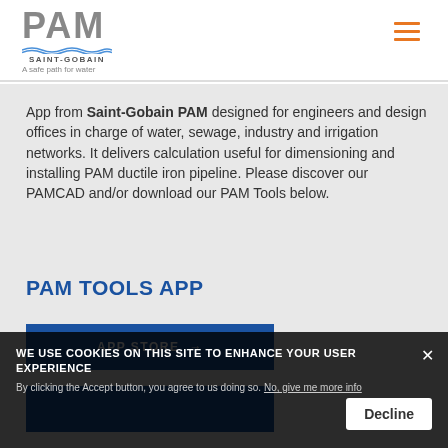[Figure (logo): PAM Saint-Gobain logo with tagline 'A safe path for water']
App from Saint-Gobain PAM designed for engineers and design offices in charge of water, sewage, industry and irrigation networks. It delivers calculation useful for dimensioning and installing PAM ductile iron pipeline. Please discover our PAMCAD and/or download our PAM Tools below.
PAM TOOLS APP
APP STORE →
WE USE COOKIES ON THIS SITE TO ENHANCE YOUR USER EXPERIENCE
By clicking the Accept button, you agree to us doing so. No, give me more info